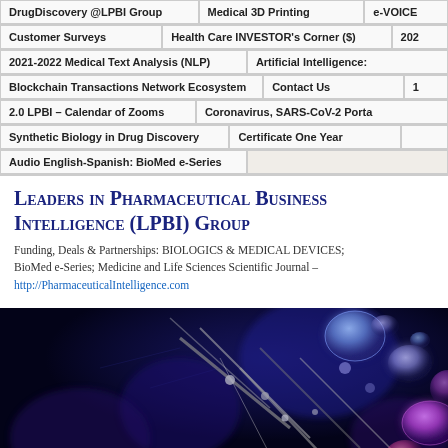DrugDiscovery @LPBI Group | Medical 3D Printing | e-VOICE | Customer Surveys | Health Care INVESTOR's Corner ($) | 202... | 2021-2022 Medical Text Analysis (NLP) | Artificial Intelligence: | Blockchain Transactions Network Ecosystem | Contact Us | 1 | 2.0 LPBI – Calendar of Zooms | Coronavirus, SARS-CoV-2 Porta... | Synthetic Biology in Drug Discovery | Certificate One Year | Audio English-Spanish: BioMed e-Series
Leaders in Pharmaceutical Business Intelligence (LPBI) Group
Funding, Deals & Partnerships: BIOLOGICS & MEDICAL DEVICES; BioMed e-Series; Medicine and Life Sciences Scientific Journal – http://PharmaceuticalIntelligence.com
[Figure (photo): Dark background scientific/biological illustration showing glowing purple and pink cell-like spheres and metallic rod structures on a dark navy blue background, suggesting biomedical or drug discovery imagery.]